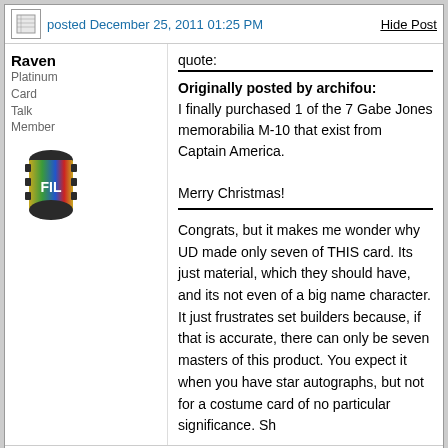Raven
Platinum Card Talk Member
posted December 25, 2011 01:25 PM
Hide Post
quote:
Originally posted by archifou:
I finally purchased 1 of the 7 Gabe Jones memorabilia M-10 that exist from Captain America.

Merry Christmas!
Congrats, but it makes me wonder why UD made only seven of THIS card. Its just material, which they should have, and its not even of a big name character. It just frustrates set builders because, if that is accurate, there can only be seven masters of this product. You expect it when you have star autographs, but not for a costume card of no particular significance. Sh
Posts: 9463 | Location: New York | Registered: November 20, 2007
archifou
Silver Card Talk Member
posted December 25, 2011 02:30 PM
Hide Post
quote: